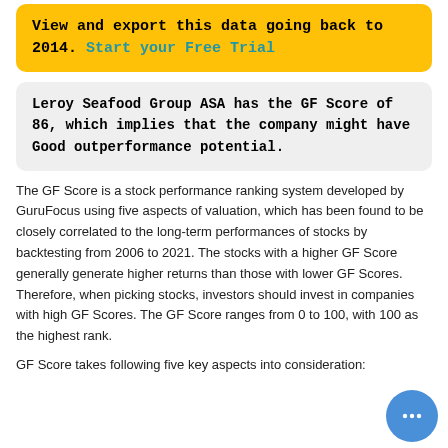View and export this data going back to 2014. Start your Free Trial
Leroy Seafood Group ASA has the GF Score of 86, which implies that the company might have Good outperformance potential.
The GF Score is a stock performance ranking system developed by GuruFocus using five aspects of valuation, which has been found to be closely correlated to the long-term performances of stocks by backtesting from 2006 to 2021. The stocks with a higher GF Score generally generate higher returns than those with lower GF Scores. Therefore, when picking stocks, investors should invest in companies with high GF Scores. The GF Score ranges from 0 to 100, with 100 as the highest rank.
GF Score takes following five key aspects into consideration: